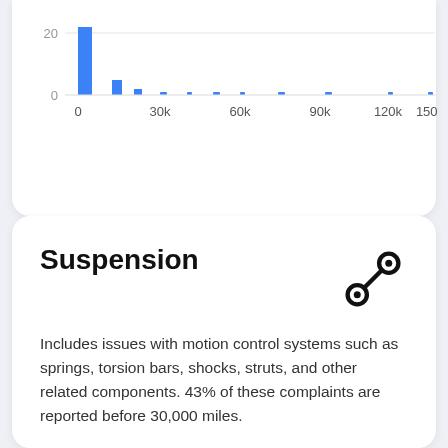[Figure (histogram): Mileage distribution histogram (partial)]
Suspension
Includes issues with motion control systems such as springs, torsion bars, shocks, struts, and other related components. 43% of these complaints are reported before 30,000 miles.
Model Year For Issue Reported